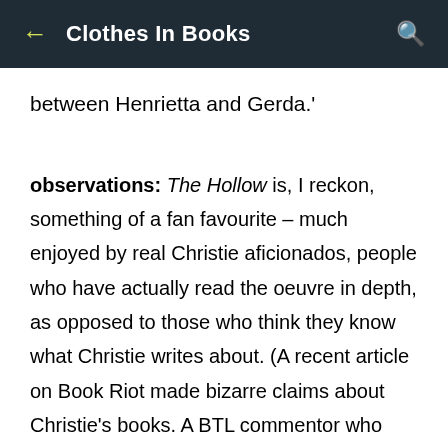Clothes In Books
between Henrietta and Gerda.'
observations: The Hollow is, I reckon, something of a fan favourite – much enjoyed by real Christie aficionados, people who have actually read the oeuvre in depth, as opposed to those who think they know what Christie writes about. (A recent article on Book Riot made bizarre claims about Christie's books. A BTL commentor who suggested the writer was wrong was told off by a moderator. I despair sometimes.)